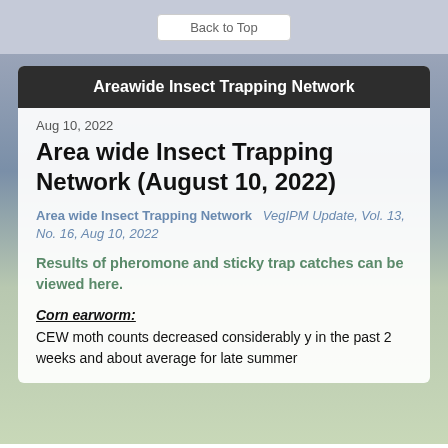Back to Top
Areawide Insect Trapping Network
Aug 10, 2022
Area wide Insect Trapping Network (August 10, 2022)
Area wide Insect Trapping Network   VegIPM Update, Vol. 13, No. 16, Aug 10, 2022
Results of pheromone and sticky trap catches can be viewed here.
Corn earworm:
CEW moth counts decreased considerably y in the past 2 weeks and about average for late summer